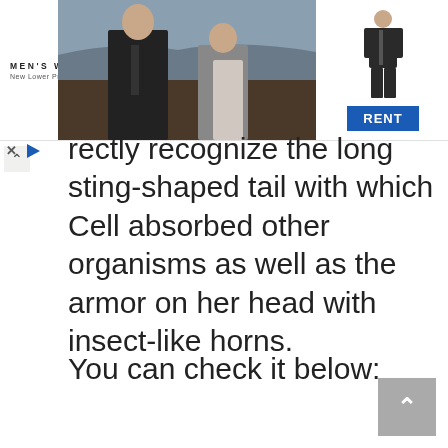[Figure (screenshot): Advertisement banner for Men's Wearhouse showing a couple in formal wear, a man in a suit figure, and a blue RENT button. Logo reads MEN'S WEARHOUSE New Lower Prices.]
rectly recognize the long sting-shaped tail with which Cell absorbed other organisms as well as the armor on her head with insect-like horns.
You can check it below: